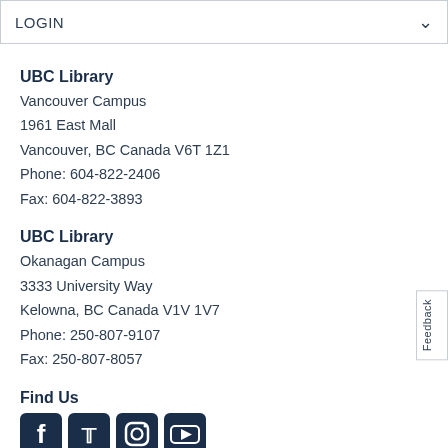LOGIN
UBC Library
Vancouver Campus
1961 East Mall
Vancouver, BC Canada V6T 1Z1
Phone: 604-822-2406
Fax: 604-822-3893
UBC Library
Okanagan Campus
3333 University Way
Kelowna, BC Canada V1V 1V7
Phone: 250-807-9107
Fax: 250-807-8057
Find Us
[Figure (other): Social media icons: Facebook, Twitter, Instagram, YouTube]
Staff Site
Copyright Guidelines